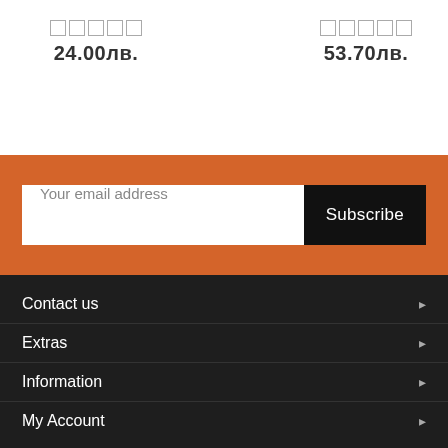24.00лв.
53.70лв.
Your email address
Subscribe
Contact us
Extras
Information
My Account
2008-2022 kalian.bg. All rights reserved.